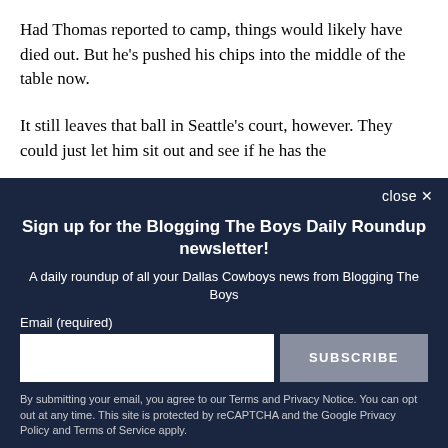Had Thomas reported to camp, things would likely have died out. But he's pushed his chips into the middle of the table now.
It still leaves that ball in Seattle's court, however. They could just let him sit out and see if he has the [continues]
close ✕
Sign up for the Blogging The Boys Daily Roundup newsletter!
A daily roundup of all your Dallas Cowboys news from Blogging The Boys
Email (required)
SUBSCRIBE
By submitting your email, you agree to our Terms and Privacy Notice. You can opt out at any time. This site is protected by reCAPTCHA and the Google Privacy Policy and Terms of Service apply.